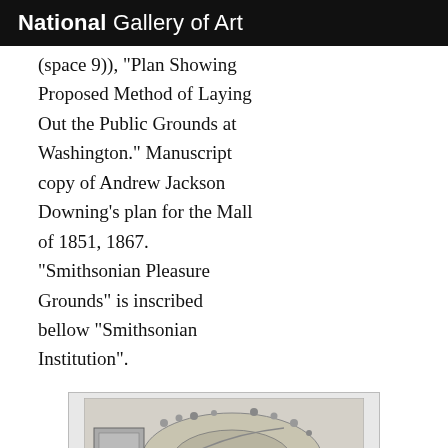National Gallery of Art
(space 9)), "Plan Showing Proposed Method of Laying Out the Public Grounds at Washington." Manuscript copy of Andrew Jackson Downing's plan for the Mall of 1851, 1867. "Smithsonian Pleasure Grounds" is inscribed bellow "Smithsonian Institution".
[Figure (map): Manuscript map showing the Smithsonian Pleasure Grounds area, a plan view with curved paths and landscaped areas near the Smithsonian Institution.]